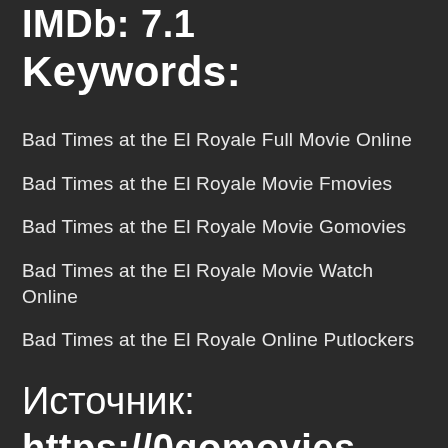IMDb: 7.1
Keywords:
Bad Times at the El Royale Full Movie Online
Bad Times at the El Royale Movie Fmovies
Bad Times at the El Royale Movie Gomovies
Bad Times at the El Royale Movie Watch Online
Bad Times at the El Royale Online Putlockers
Источник:
https://0gomovies